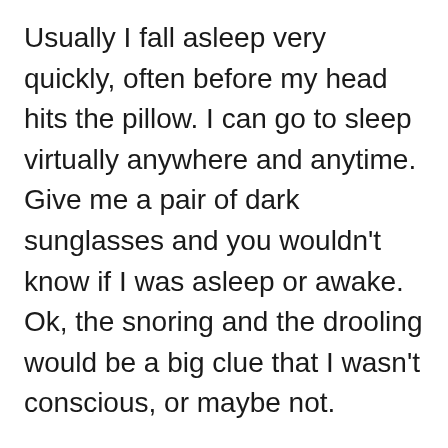Usually I fall asleep very quickly, often before my head hits the pillow. I can go to sleep virtually anywhere and anytime. Give me a pair of dark sunglasses and you wouldn't know if I was asleep or awake. Ok, the snoring and the drooling would be a big clue that I wasn't conscious, or maybe not.
Last night was an exception to the rule so I took steps to rectify the problem. I started to count sheep but that is far too easy and not nearly boring enough. So I took a moment to consider what the math geeks do for fun and almost bored myself to sleep thinking about Eigenvectors, derivatives and parabolas. The